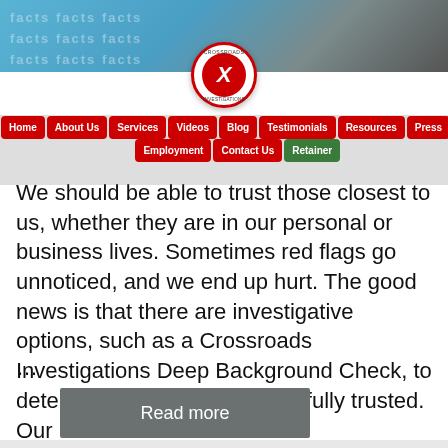[Figure (screenshot): Website header with blue background showing 'facts' text pattern and Crossroads Investigations logo (red X in circle)]
Home | About Us | Services | Videos | Blog | Testimonials | Resources | Press | FAQs | Employment | Contact Us | Retainer
We should be able to trust those closest to us, whether they are in our personal or business lives. Sometimes red flags go unnoticed, and we end up hurt. The good news is that there are investigative options, such as a Crossroads Investigations Deep Background Check, to determine if someone can be fully trusted. Our
...
Read more